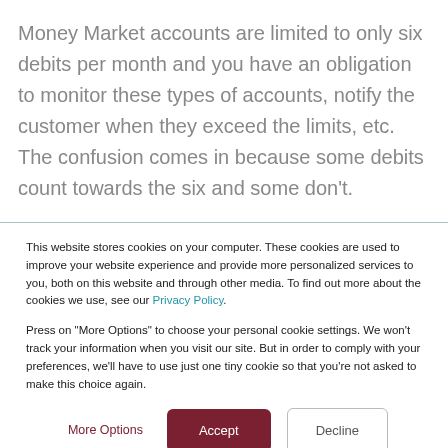Money Market accounts are limited to only six debits per month and you have an obligation to monitor these types of accounts, notify the customer when they exceed the limits, etc.  The confusion comes in because some debits count towards the six and some don't.
This website stores cookies on your computer. These cookies are used to improve your website experience and provide more personalized services to you, both on this website and through other media. To find out more about the cookies we use, see our Privacy Policy.
Press on "More Options" to choose your personal cookie settings. We won't track your information when you visit our site. But in order to comply with your preferences, we'll have to use just one tiny cookie so that you're not asked to make this choice again.